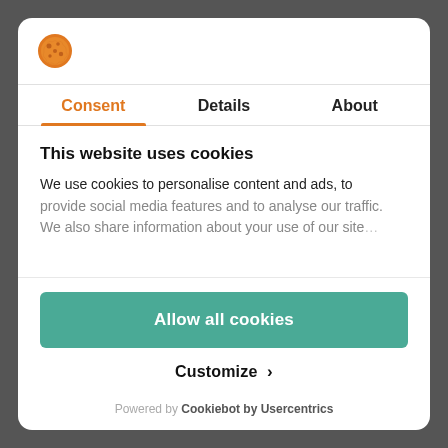[Figure (logo): Orange cookie/shield logo icon]
Consent | Details | About
This website uses cookies
We use cookies to personalise content and ads, to provide social media features and to analyse our traffic. We also share information about your use of our site...
Allow all cookies
Customize >
Powered by Cookiebot by Usercentrics